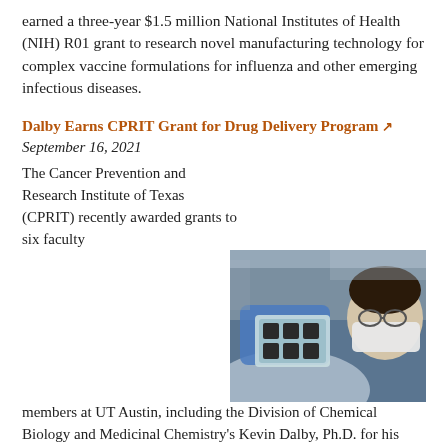earned a three-year $1.5 million National Institutes of Health (NIH) R01 grant to research novel manufacturing technology for complex vaccine formulations for influenza and other emerging infectious diseases.
Dalby Earns CPRIT Grant for Drug Delivery Program ↗
September 16, 2021
[Figure (photo): A researcher in blue gloves and mask holding a laboratory multi-well plate under bright light, with lab equipment in the background.]
The Cancer Prevention and Research Institute of Texas (CPRIT) recently awarded grants to six faculty members at UT Austin, including the Division of Chemical Biology and Medicinal Chemistry's Kevin Dalby, Ph.D. for his Targeted Therapeutic Drug Discovery and Development Program.
PharmE3D Labs Earn Multiple Pharmaceutical Science Distinctions
September 10, 2021
[Figure (photo): Three portrait photos of researchers/faculty members side by side.]